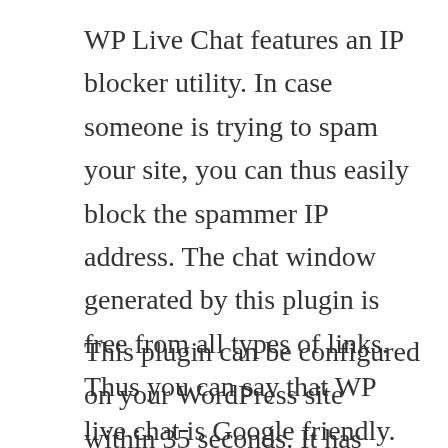WP Live Chat features an IP blocker utility. In case someone is trying to spam your site, you can thus easily block the spammer IP address. The chat window generated by this plugin is free from all types of links. Thus you can say that WP live chat is Google friendly.
This plugin can be configured on your WordPress site within 35 seconds. It has quick overview